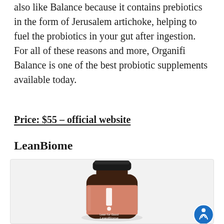also like Balance because it contains prebiotics in the form of Jerusalem artichoke, helping to fuel the probiotics in your gut after ingestion. For all of these reasons and more, Organifi Balance is one of the best probiotic supplements available today.
Price: $55 – official website
LeanBiome
[Figure (photo): Product photo of LeanBiome supplement bottle by Lean for Good. Dark amber glass bottle with black lid and salmon/terracotta colored label featuring a white vertical bar and dot logo, text reading 'Lean for Good' and 'LeanBiome'. Displayed on light gray background.]